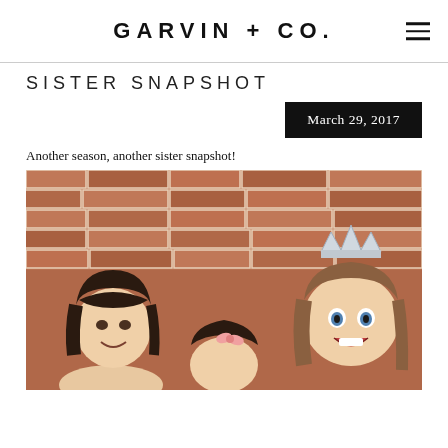GARVIN + CO.
SISTER SNAPSHOT
March 29, 2017
Another season, another sister snapshot!
[Figure (photo): Three young girls posed in front of a red brick wall. The girl on the right wears a silver glitter crown headband and has an excited open-mouth expression. The girl on the left smiles. A third girl in the middle faces away slightly.]